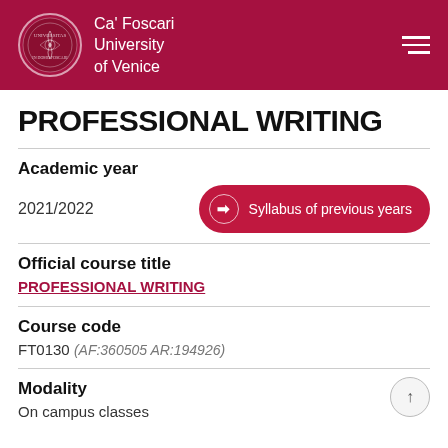Ca' Foscari University of Venice
PROFESSIONAL WRITING
Academic year
2021/2022
Official course title
PROFESSIONAL WRITING
Course code
FT0130 (AF:360505 AR:194926)
Modality
On campus classes